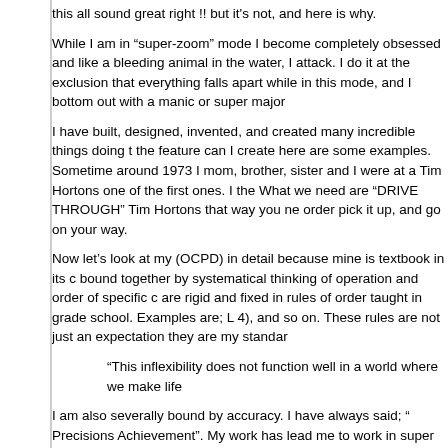this all sound great right !! but itâ€™s not, and here is why.
While I am in â€œsuper-zoomâ€� mode I become completely obsessed and like a bleeding animal in the water, I attack. I do it at the exclusion that everything falls apart while in this mode, and I bottom out with a manic or super major
I have built, designed, invented, and created many incredible things doing t the feature can I create here are some examples. Sometime around 1973 I mom, brother, sister and I were at a Tim Hortons one of the first ones. I the What we need are â€œDRIVE THROUGHâ€� Tim Hortons that way you ne order pick it up, and go on your way.
Now letâ€™s look at my (OCPD) in detail because mine is textbook in its c bound together by systematical thinking of operation and order of specific c are rigid and fixed in rules of order taught in grade school. Examples are; L 4), and so on. These rules are not just an expectation they are my standar
"This inflexibility does not function well in a world where we make life
I am also severally bound by accuracy. I have always said; â€œ Precisions Achievementâ€�. My work has lead me to work in super accuracy. I use to c calibrated and guaranteed to be Â¼ second for accuracy. What that means from perfect 90°. I am a super perfectionist with anything I do and am very t mathematics, science, and physics.
Now letâ€™s look at a photo that depicts (OCD) when I look at this photo I would have diagnosed this as: Patient displays mild criteria 300.3 page 42